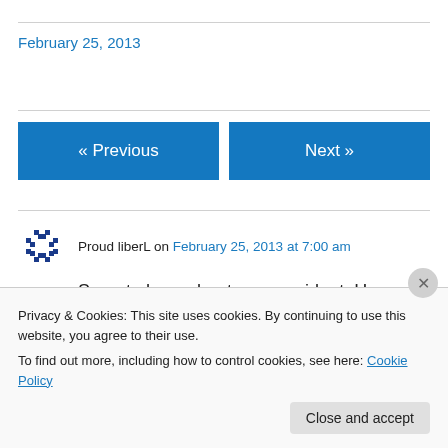February 25, 2013
« Previous
Next »
Proud liberL on February 25, 2013 at 7:00 am
Sorry to hear about your accident. Hope u feel better soon.
Privacy & Cookies: This site uses cookies. By continuing to use this website, you agree to their use.
To find out more, including how to control cookies, see here: Cookie Policy